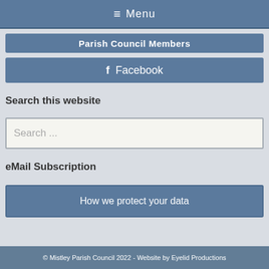≡ Menu
Parish Council Members
f  Facebook
Search this website
Search ...
eMail Subscription
How we protect your data
© Mistley Parish Council 2022 - Website by Eyelid Productions